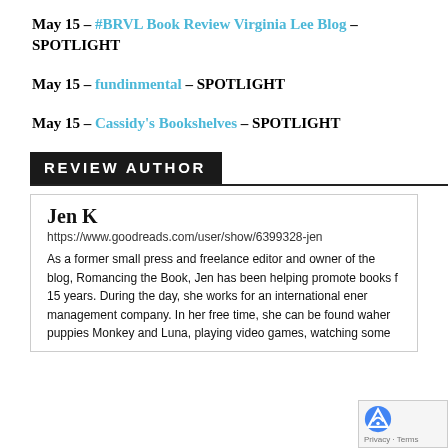May 15 – #BRVL Book Review Virginia Lee Blog – SPOTLIGHT
May 15 – fundinmental – SPOTLIGHT
May 15 – Cassidy's Bookshelves – SPOTLIGHT
REVIEW AUTHOR
Jen K
https://www.goodreads.com/user/show/6399328-jen
As a former small press and freelance editor and owner of the blog, Romancing the Book, Jen has been helping promote books f... 15 years. During the day, she works for an international ener... management company. In her free time, she can be found wa... her puppies Monkey and Luna, playing video games, watching some